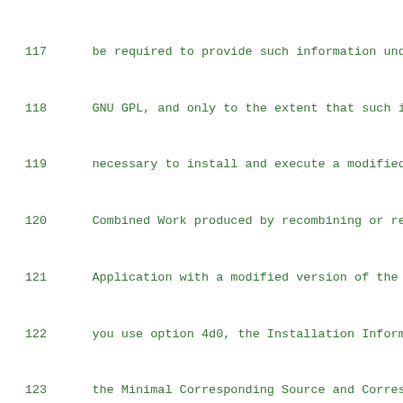117     be required to provide such information unde
118     GNU GPL, and only to the extent that such in
119     necessary to install and execute a modified v
120     Combined Work produced by recombining or rel
121     Application with a modified version of the Li
122     you use option 4d0, the Installation Informat
123     the Minimal Corresponding Source and Correspo
124     Code. If you use option 4d1, you must provide
125     Information in the manner specified by secti
126     for conveying Corresponding Source.)
127
128   5. Combined Libraries.
129
130     You may place library facilities that are a wo
131   Library side by side in a single library togethe
132   facilities that are not Applications and are no
133   License, and convey such a combined library unde
134   choice, if you do both of the following:
135
136     a) Accompany the combined library with a cop
137     on the Library, uncombined with any other lib